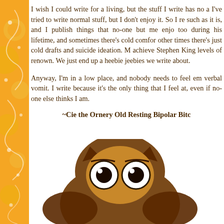I wish I could write for a living, but the stuff I write has no a… I've tried to write normal stuff, but I don't enjoy it. So I re… such as it is, and I publish things that no-one but me enjo… too during his lifetime, and sometimes there's cold comfort… other times there's just cold drafts and suicide ideation. M… achieve Stephen King levels of renown. We just end up a… heebie jeebies we write about.
Anyway, I'm in a low place, and nobody needs to feel em… verbal vomit. I write because it's the only thing that I feel… at, even if no-one else thinks I am.
~Cie the Ornery Old Resting Bipolar Bitc…
[Figure (illustration): Cartoon owl illustration, brown and round with large eyes, partially visible at bottom of page]